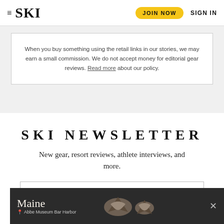SKI — JOIN NOW  SIGN IN
When you buy something using the retail links in our stories, we may earn a small commission. We do not accept money for editorial gear reviews. Read more about our policy.
SKI NEWSLETTER
New gear, resort reviews, athlete interviews, and more.
[Figure (screenshot): Email signup input box partially visible]
[Figure (photo): Advertisement banner for Maine / Abbe Museum Bar Harbor with arrowhead artifacts on dark background]